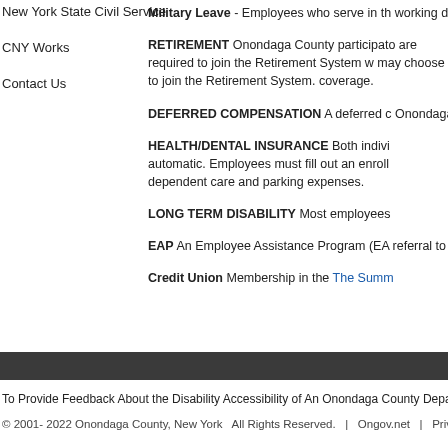New York State Civil Service
CNY Works
Contact Us
Military Leave - Employees who serve in the working days or thirty (30) calendar days pe
RETIREMENT Onondaga County participato are required to join the Retirement System w may choose to join the Retirement System. coverage.
DEFERRED COMPENSATION A deferred c Onondaga County employees.
HEALTH/DENTAL INSURANCE Both indivi automatic. Employees must fill out an enroll dependent care and parking expenses.
LONG TERM DISABILITY Most employees
EAP An Employee Assistance Program (EA referral to appropriate agencies or short term
Credit Union Membership in the The Summ
To Provide Feedback About the Disability Accessibility of An Onondaga County Depa
© 2001- 2022 Onondaga County, New York  All Rights Reserved.   |  Ongov.net  |  Privacy Statement